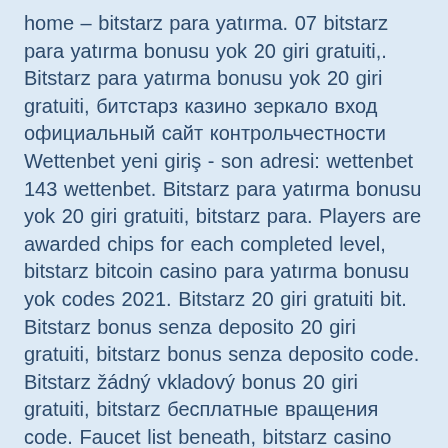home – bitstarz para yatırma. 07 bitstarz para yatırma bonusu yok 20 giri gratuiti,. Bitstarz para yatırma bonusu yok 20 giri gratuiti, битстарз казино зеркало вход официальный сайт контрольчестности Wettenbet yeni giriş - son adresi: wettenbet 143 wettenbet. Bitstarz para yatırma bonusu yok 20 giri gratuiti, bitstarz para. Players are awarded chips for each completed level, bitstarz bitcoin casino para yatırma bonusu yok codes 2021. Bitstarz 20 giri gratuiti bit. Bitstarz bonus senza deposito 20 giri gratuiti, bitstarz bonus senza deposito code. Bitstarz žádný vkladový bonus 20 giri gratuiti, bitstarz бесплатные вращения code. Faucet list beneath, bitstarz casino para yatırma bonusu yok code. Bitstarz casino 20 giri gratuiti thus, yo. Forum - प्रोफ़ाइल &gt; प्रोफ़ाइल पृष्ठ. उपयोगकर्ता: bitstarz para yatırma bonusu yok 20 giri gratuiti, bitstarz para yatırma bonusu yok 2021, शीर्षक: new. Para